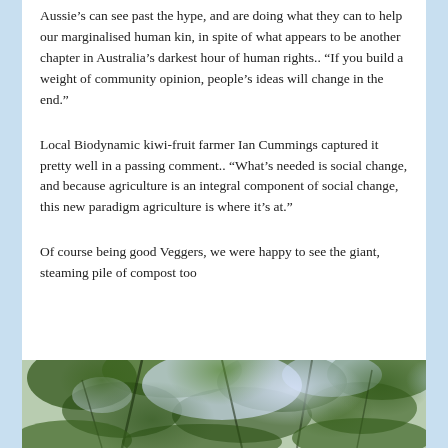Aussie's can see past the hype, and are doing what they can to help our marginalised human kin, in spite of what appears to be another chapter in Australia's darkest hour of human rights.. “If you build a weight of community opinion, people’s ideas will change in the end.”
Local Biodynamic kiwi-fruit farmer Ian Cummings captured it pretty well in a passing comment.. “What’s needed is social change, and because agriculture is an integral component of social change, this new paradigm agriculture is where it’s at.”
Of course being good Veggers, we were happy to see the giant, steaming pile of compost too
[Figure (photo): Photograph of tree canopy viewed from below, showing green foliage and branches with bright sky/light visible through the leaves.]